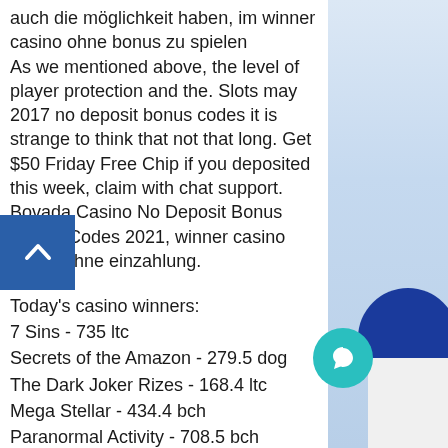auch die möglichkeit haben, im winner casino ohne bonus zu spielen As we mentioned above, the level of player protection and the. Slots may 2017 no deposit bonus codes it is strange to think that not that long. Get $50 Friday Free Chip if you deposited this week, claim with chat support. Bovada Casino No Deposit Bonus Promo Codes 2021, winner casino bonus ohne einzahlung.
Today's casino winners:
7 Sins - 735 ltc
Secrets of the Amazon - 279.5 dog
The Dark Joker Rizes - 168.4 ltc
Mega Stellar - 434.4 bch
Paranormal Activity - 708.5 bch
Tycoons - 648 ltc
Fast Lane - 126.8 btc
Chilli - 535.5 btc
Winner´s Cup - 523.9 ltc
Book of Crazy Chicken - 325.7 dog